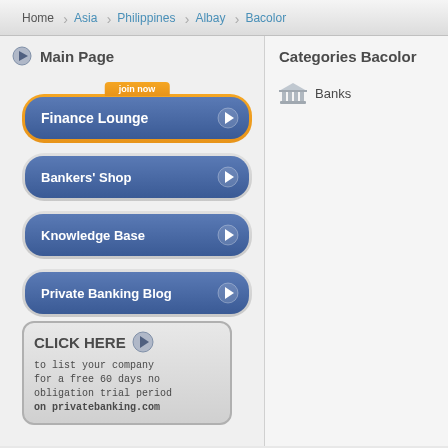Home › Asia › Philippines › Albay › Bacolor
Main Page
join now — Finance Lounge
Bankers' Shop
Knowledge Base
Private Banking Blog
[Figure (screenshot): Click Here button with text: to list your company for a free 60 days no obligation trial period on privatebanking.com]
Categories Bacolor
Banks